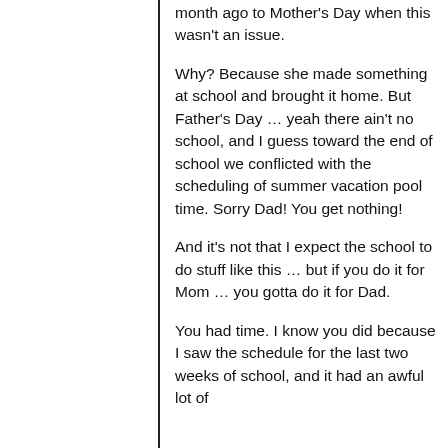but lets travel back in time about a month ago to Mother's Day when this wasn't an issue.
Why? Because she made something at school and brought it home. But Father's Day … yeah there ain't no school, and I guess toward the end of school we conflicted with the scheduling of summer vacation pool time. Sorry Dad! You get nothing!
And it's not that I expect the school to do stuff like this … but if you do it for Mom … you gotta do it for Dad.
You had time. I know you did because I saw the schedule for the last two weeks of school, and it had an awful lot of